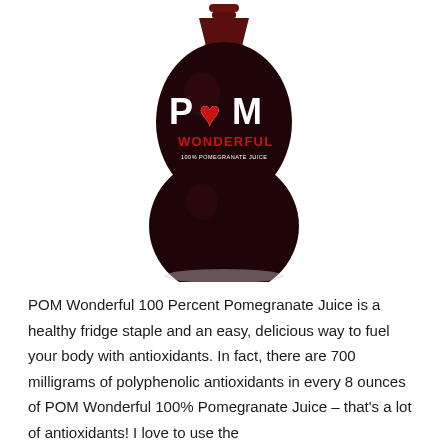[Figure (photo): POM Wonderful 100% Pomegranate Juice bottle — a distinctive double-sphere dark glass bottle with a narrow neck and cap, white POM logo with a red heart replacing the O, and red WONDERFUL text below, on a white background.]
POM Wonderful 100 Percent Pomegranate Juice is a healthy fridge staple and an easy, delicious way to fuel your body with antioxidants. In fact, there are 700 milligrams of polyphenolic antioxidants in every 8 ounces of POM Wonderful 100% Pomegranate Juice – that's a lot of antioxidants! I love to use the